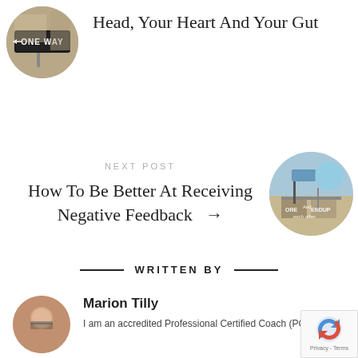Head, Your Heart And Your Gut
NEXT POST
How To Be Better At Receiving Negative Feedback →
WRITTEN BY
Marion Tilly
I am an accredited Professional Certified Coach (PCC),